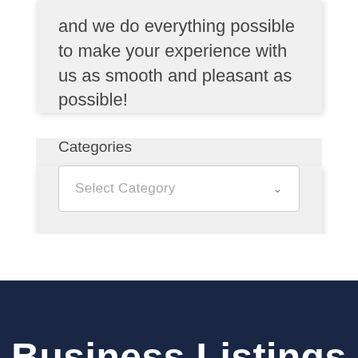and we do everything possible to make your experience with us as smooth and pleasant as possible!
Categories
[Figure (screenshot): A dropdown selector widget with placeholder text 'Select Category' and a chevron arrow on the right]
Business Listings